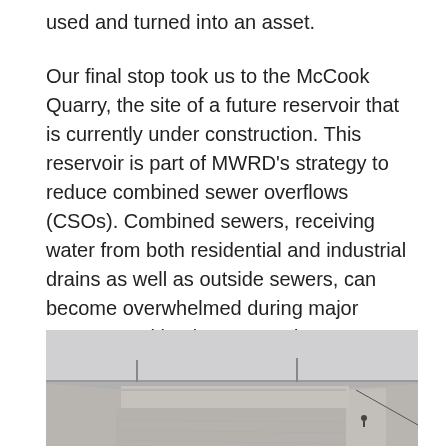used and turned into an asset.
Our final stop took us to the McCook Quarry, the site of a future reservoir that is currently under construction. This reservoir is part of MWRD's strategy to reduce combined sewer overflows (CSOs). Combined sewers, receiving water from both residential and industrial drains as well as outside sewers, can become overwhelmed during major storms resulting in untreated wastewater getting flushed into bodies of water, like our own near and dear Lake Michigan.
[Figure (photo): Photograph of the McCook Quarry construction site showing a large open excavation with concrete walls and a flat rocky floor. The sky is overcast and grey. Construction infrastructure and distant treelines are visible in the background.]